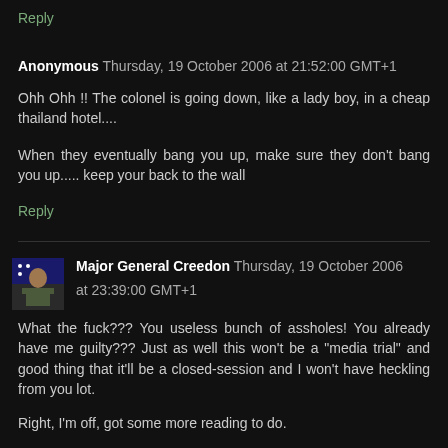Reply
Anonymous  Thursday, 19 October 2006 at 21:52:00 GMT+1
Ohh Ohh !! The colonel is going down, like a lady boy, in a cheap thailand hotel....
When they eventually bang you up, make sure they don't bang you up..... keep your back to the wall
Reply
Major General Creedon  Thursday, 19 October 2006 at 23:39:00 GMT+1
What the fuck??? You useless bunch of assholes! You already have me guilty??? Just as well this won't be a "media trial" and good thing that it'll be a closed-session and I won't have heckling from you lot.
Right, I'm off, got some more reading to do.